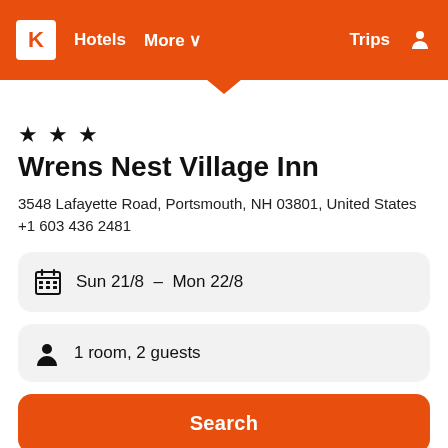K Hotels More ∨ Trips
★ ★ ★
Wrens Nest Village Inn
3548 Lafayette Road, Portsmouth, NH 03801, United States
+1 603 436 2481
Sun 21/8 – Mon 22/8
1 room, 2 guests
Search
Provider